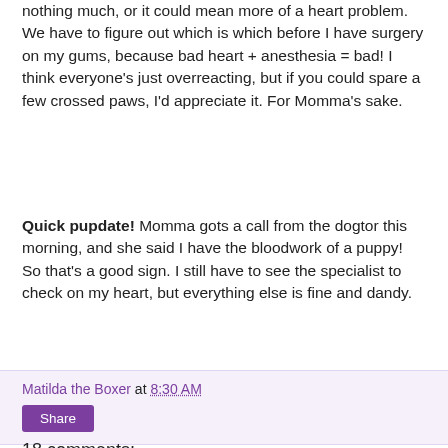nothing much, or it could mean more of a heart problem. We have to figure out which is which before I have surgery on my gums, because bad heart + anesthesia = bad! I think everyone's just overreacting, but if you could spare a few crossed paws, I'd appreciate it. For Momma's sake.
Quick pupdate! Momma gots a call from the dogtor this morning, and she said I have the bloodwork of a puppy! So that's a good sign. I still have to see the specialist to check on my heart, but everything else is fine and dandy.
Matilda the Boxer at 8:30 AM
Share
18 comments:
Julie January 19, 2017 at 9:02 AM
I haf ALL my paws crossed!!!!! You take very good care, get rid of that nasty ole lump thingy, don't need no